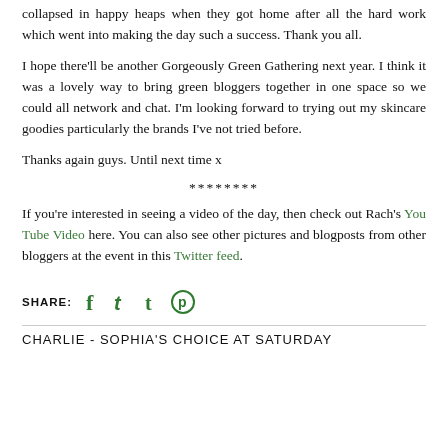collapsed in happy heaps when they got home after all the hard work which went into making the day such a success. Thank you all.
I hope there'll be another Gorgeously Green Gathering next year. I think it was a lovely way to bring green bloggers together in one space so we could all network and chat. I'm looking forward to trying out my skincare goodies particularly the brands I've not tried before.
Thanks again guys. Until next time x
********
If you're interested in seeing a video of the day, then check out Rach's You Tube Video here. You can also see other pictures and blogposts from other bloggers at the event in this Twitter feed.
[Figure (infographic): Share bar with Facebook, Twitter, Tumblr, and Pinterest icons in green]
CHARLIE - SOPHIA'S CHOICE AT SATURDAY